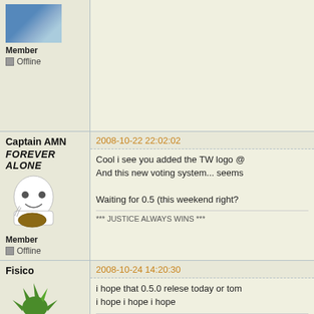Member
Offline
Captain AMN
FOREVER ALONE
Member
Offline
2008-10-22 22:02:02
Cool i see you added the TW logo @
And this new voting system... seems

Waiting for 0.5 (this weekend right?
*** JUSTICE ALWAYS WINS ***
Fisico
Member
Offline
2008-10-24 14:20:30
i hope that 0.5.0 relese today or tom
i hope i hope i hope
« Owner of Teesites.net
« Domination Mod "Developer"
« Uptee Designer
4matsy
New member
Offline
2008-11-05 01:46:04
Having read the regulars' posts earli
probably doesn't count for too much